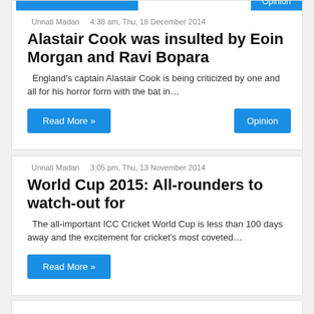Unnati Madan   4:38 am, Thu, 18 December 2014
Alastair Cook was insulted by Eoin Morgan and Ravi Bopara
England's captain Alastair Cook is being criticized by one and all for his horror form with the bat in…
Read More »
Opinion
Unnati Madan   3:05 pm, Thu, 13 November 2014
World Cup 2015: All-rounders to watch-out for
The all-important ICC Cricket World Cup is less than 100 days away and the excitement for cricket's most coveted…
Read More »